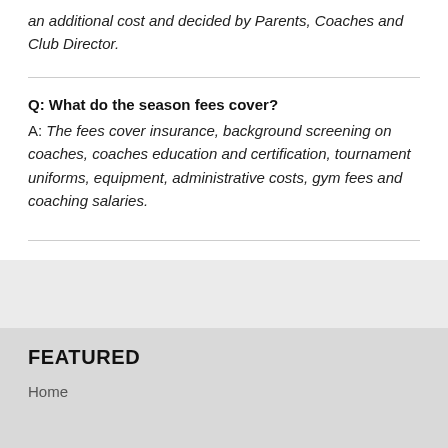an additional cost and decided by Parents, Coaches and Club Director.
Q: What do the season fees cover?
A: The fees cover insurance, background screening on coaches, coaches education and certification, tournament uniforms, equipment, administrative costs, gym fees and coaching salaries.
FEATURED
Home